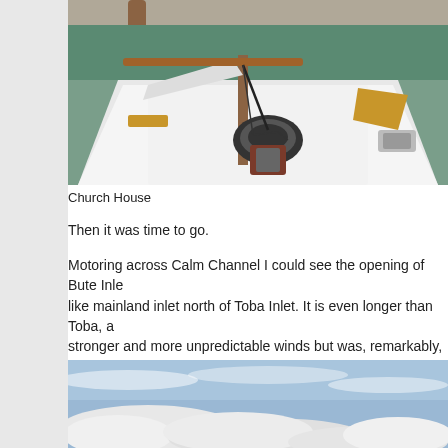[Figure (photo): View from the bow of a small white sailboat looking forward, showing the white deck, a coiled rope, sailing hardware, and wooden spar. Green water and rocky shoreline visible in background.]
Church House
Then it was time to go.
Motoring across Calm Channel I could see the opening of Bute Inle like mainland inlet north of Toba Inlet. It is even longer than Toba, a stronger and more unpredictable winds but was, remarkably, calm same dramatic aspect, with the promise of high mountains, as the much more dramatic as you move farther in. One day I would like t
[Figure (photo): Blue sky with scattered white clouds, viewed from below, possibly from a boat on the water.]